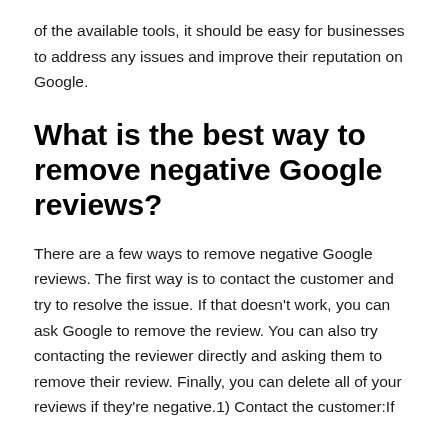of the available tools, it should be easy for businesses to address any issues and improve their reputation on Google.
What is the best way to remove negative Google reviews?
There are a few ways to remove negative Google reviews. The first way is to contact the customer and try to resolve the issue. If that doesn't work, you can ask Google to remove the review. You can also try contacting the reviewer directly and asking them to remove their review. Finally, you can delete all of your reviews if they're negative.1) Contact the customer:If